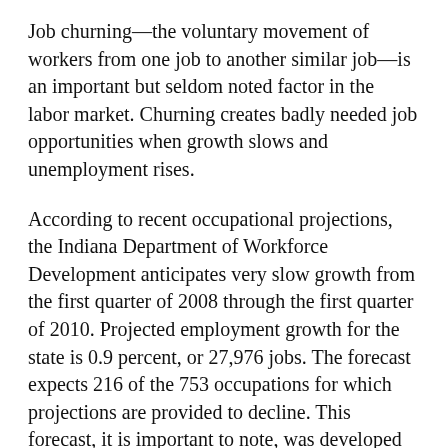Job churning—the voluntary movement of workers from one job to another similar job—is an important but seldom noted factor in the labor market. Churning creates badly needed job opportunities when growth slows and unemployment rises.
According to recent occupational projections, the Indiana Department of Workforce Development anticipates very slow growth from the first quarter of 2008 through the first quarter of 2010. Projected employment growth for the state is 0.9 percent, or 27,976 jobs. The forecast expects 216 of the 753 occupations for which projections are provided to decline. This forecast, it is important to note, was developed while the current recession was still taking shape; thus, it represents a best-case scenario of very